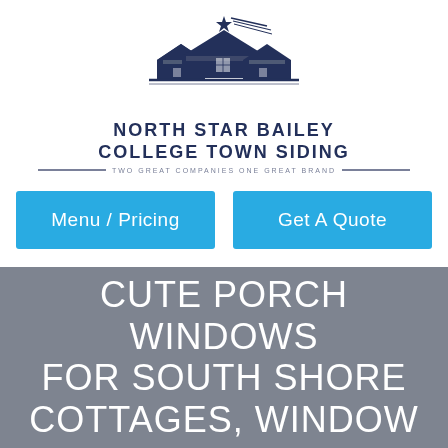[Figure (logo): North Star Bailey College Town Siding logo with house rooftops and a star with shooting lines above, dark navy blue color]
NORTH STAR BAILEY
COLLEGE TOWN SIDING
TWO GREAT COMPANIES ONE GREAT BRAND
Menu / Pricing
Get A Quote
CUTE PORCH WINDOWS FOR SOUTH SHORE COTTAGES, WINDOW